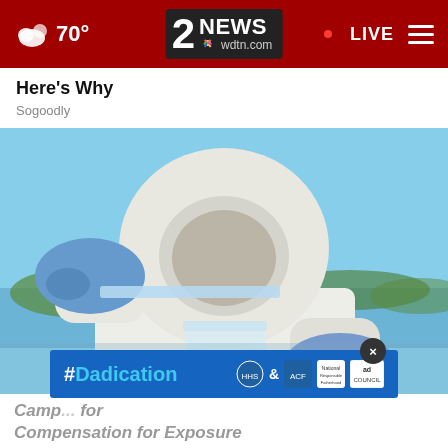70° | 2NEWS wdtn.com | LIVE
Here's Why
Sogoodly
[Figure (photo): Person wearing white protective hazmat suit and blue gloves, holding a glass beaker and a glass slide outdoors near a body of water, examining a water sample]
Camp... for Compensation for Exposure
[Figure (infographic): Ad banner: #Dadication with ACF, HHS, National Responsible Fatherhood Clearinghouse, and Ad Council logos on blue background with close button]